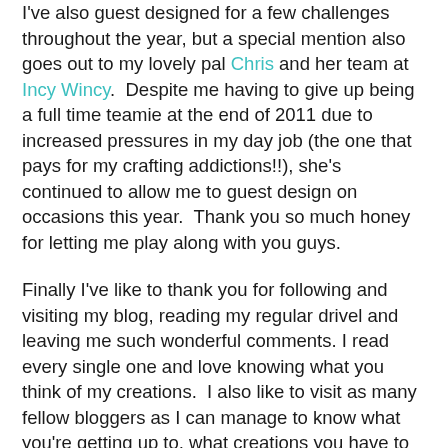I've also guest designed for a few challenges throughout the year, but a special mention also goes out to my lovely pal Chris and her team at Incy Wincy.  Despite me having to give up being a full time teamie at the end of 2011 due to increased pressures in my day job (the one that pays for my crafting addictions!!), she's continued to allow me to guest design on occasions this year.  Thank you so much honey for letting me play along with you guys.
Finally I've like to thank you for following and visiting my blog, reading my regular drivel and leaving me such wonderful comments. I read every single one and love knowing what you think of my creations.  I also like to visit as many fellow bloggers as I can manage to know what you're getting up to, what creations you have to share, and what tips and inspiration you have taken the trouble to share with us.
Thank you to you all.
You make this blog worthwhile and I'm grateful for every single visitor (except for those anonymous spam ones who